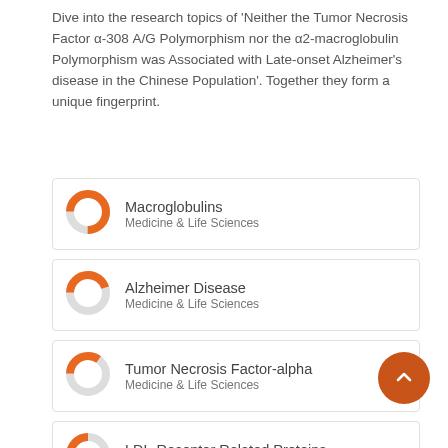Dive into the research topics of 'Neither the Tumor Necrosis Factor α-308 A/G Polymorphism nor the α2-macroglobulin Polymorphism was Associated with Late-onset Alzheimer's disease in the Chinese Population'. Together they form a unique fingerprint.
[Figure (donut-chart): Donut chart icon ~75% filled orange for Macroglobulins, Medicine & Life Sciences]
[Figure (donut-chart): Donut chart icon ~45% filled orange for Alzheimer Disease, Medicine & Life Sciences]
[Figure (donut-chart): Donut chart icon ~35% filled orange for Tumor Necrosis Factor-alpha, Medicine & Life Sciences]
[Figure (donut-chart): Donut chart icon ~25% filled orange for LDL-Receptor Related Proteins, Medicine & Life Sciences]
[Figure (donut-chart): Partial donut chart icon for Apolipoprotein E4]